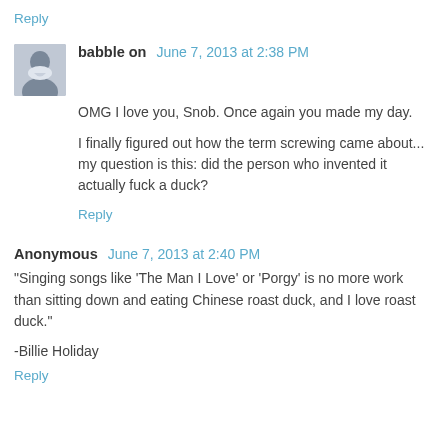Reply
babble on  June 7, 2013 at 2:38 PM
OMG I love you, Snob. Once again you made my day.
I finally figured out how the term screwing came about... my question is this: did the person who invented it actually fuck a duck?
Reply
Anonymous  June 7, 2013 at 2:40 PM
"Singing songs like 'The Man I Love' or 'Porgy' is no more work than sitting down and eating Chinese roast duck, and I love roast duck."
-Billie Holiday
Reply